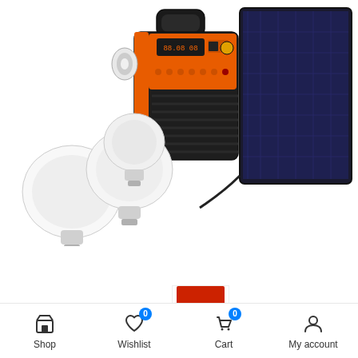[Figure (photo): Product photo of a solar power generator kit consisting of a black and orange portable power station/radio with handle and LED spotlight, three white LED light bulbs with cords, and a black-framed solar panel. Items are displayed on a white background.]
Power switch
[Figure (photo): Small thumbnail image of the bottom portion of the portable solar power station, showing a red-trimmed section at the top.]
Shop   Wishlist 0   Cart 0   My account